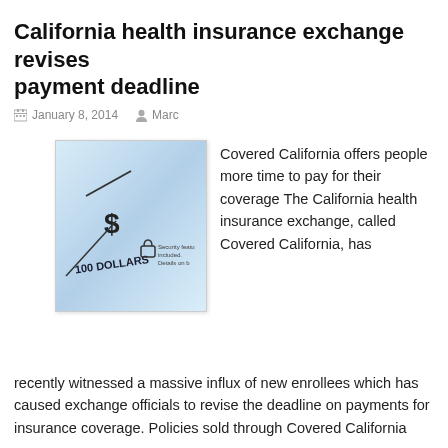California health insurance exchange revises payment deadline
January 8, 2014   Marc
[Figure (photo): Close-up photo of a check showing '100 DOLLARS', a dollar sign, and security features text]
Covered California offers people more time to pay for their coverage The California health insurance exchange, called Covered California, has recently witnessed a massive influx of new enrollees which has caused exchange officials to revise the deadline on payments for insurance coverage. Policies sold through Covered California